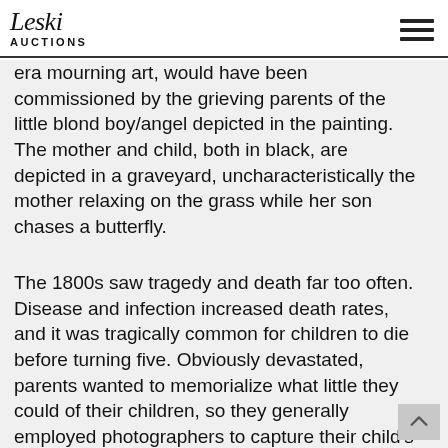Leski Auctions
era mourning art, would have been commissioned by the grieving parents of the little blond boy/angel depicted in the painting. The mother and child, both in black, are depicted in a graveyard, uncharacteristically the mother relaxing on the grass while her son chases a butterfly.
The 1800s saw tragedy and death far too often. Disease and infection increased death rates, and it was tragically common for children to die before turning five. Obviously devastated, parents wanted to memorialize what little they could of their children, so they generally employed photographers to capture their child's image one last time before sending them to their graves. The children were dressed in their finest attire and were